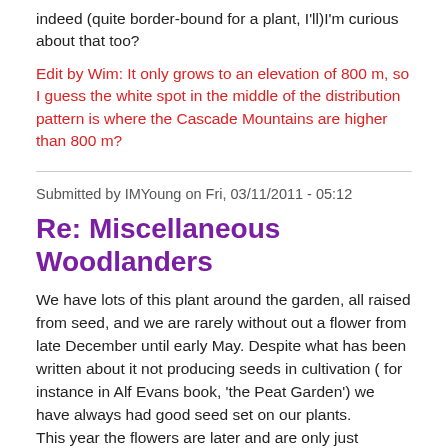indeed (quite border-bound for a plant, I'll)I'm curious about that too?
Edit by Wim: It only grows to an elevation of 800 m, so I guess the white spot in the middle of the distribution pattern is where the Cascade Mountains are higher than 800 m?
Submitted by IMYoung on Fri, 03/11/2011 - 05:12
Re: Miscellaneous Woodlanders
We have lots of this plant around the garden, all raised from seed, and we are rarely without out a flower from late December until early May. Despite what has been written about it not producing seeds in cultivation ( for instance in Alf Evans book, 'the Peat Garden') we have always had good seed set on our plants.
This year the flowers are later and are only just beginning.